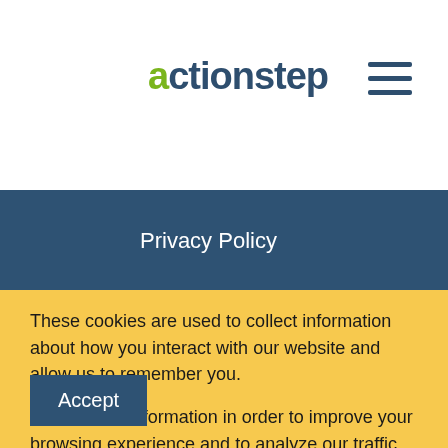actionstep
Privacy Policy
Terms Of Use
Company
About Us
These cookies are used to collect information about how you interact with our website and allow us to remember you. We use this information in order to improve your browsing experience and to analyze our traffic. To find out more about the cookies we use, see our Privacy Policy.
Accept